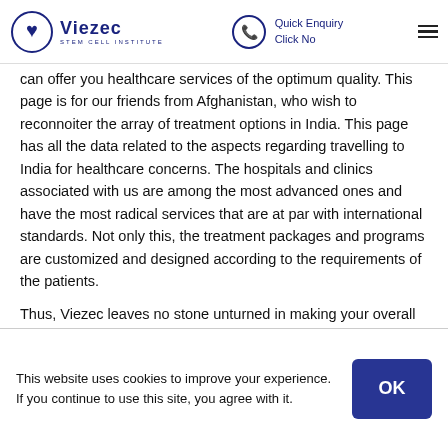Viezec Stem Cell Institute | Quick Enquiry Click No
can offer you healthcare services of the optimum quality. This page is for our friends from Afghanistan, who wish to reconnoiter the array of treatment options in India. This page has all the data related to the aspects regarding travelling to India for healthcare concerns. The hospitals and clinics associated with us are among the most advanced ones and have the most radical services that are at par with international standards. Not only this, the treatment packages and programs are customized and designed according to the requirements of the patients.
Thus, Viezec leaves no stone unturned in making your overall treatment process enormously easy and smooth
This website uses cookies to improve your experience. If you continue to use this site, you agree with it.